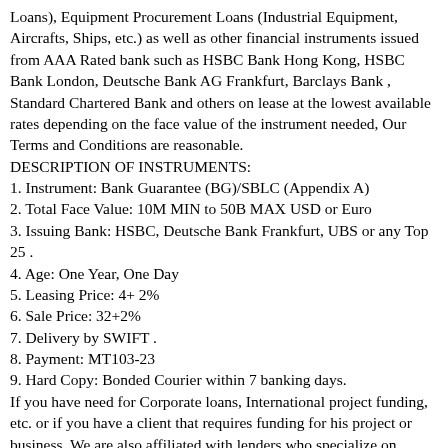Loans), Equipment Procurement Loans (Industrial Equipment, Aircrafts, Ships, etc.) as well as other financial instruments issued from AAA Rated bank such as HSBC Bank Hong Kong, HSBC Bank London, Deutsche Bank AG Frankfurt, Barclays Bank , Standard Chartered Bank and others on lease at the lowest available rates depending on the face value of the instrument needed, Our Terms and Conditions are reasonable.
DESCRIPTION OF INSTRUMENTS:
1. Instrument: Bank Guarantee (BG)/SBLC (Appendix A)
2. Total Face Value: 10M MIN to 50B MAX USD or Euro
3. Issuing Bank: HSBC, Deutsche Bank Frankfurt, UBS or any Top 25 .
4. Age: One Year, One Day
5. Leasing Price: 4+ 2%
6. Sale Price: 32+2%
7. Delivery by SWIFT .
8. Payment: MT103-23
9. Hard Copy: Bonded Courier within 7 banking days.
If you have need for Corporate loans, International project funding, etc. or if you have a client that requires funding for his project or business, We are also affiliated with lenders who specialize on funding against financial instruments, such as BG, SBLC, POF or MTN, we fund 100% of the face value of the financial instrument. Inquiries from agents/ brokers/ intermediaries are also welcomed; do get back to us if you are interested in any of our services and for quality service